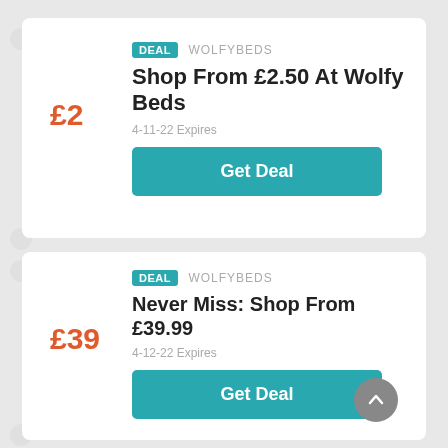DEAL  WOLFYBEDS
Shop From £2.50 At Wolfy Beds
£2
4-11-22 Expires
Get Deal
DEAL  WOLFYBEDS
Never Miss: Shop From £39.99
£39
4-12-22 Expires
Get Deal